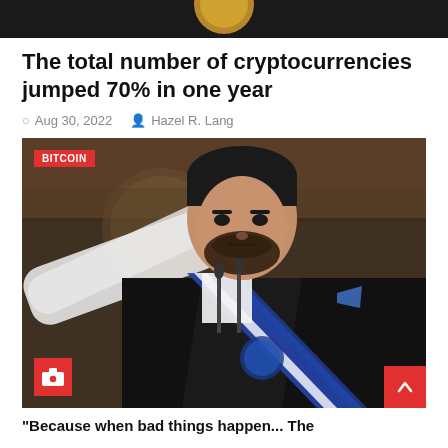[Figure (photo): Top decorative bar showing dark background with gold/bitcoin coin imagery at the top of the page]
The total number of cryptocurrencies jumped 70% in one year
Aug 30, 2022  Hazel R. Lang
[Figure (photo): Photo of a man in a suit with a blue and white presidential sash (El Salvador flag colors), speaking at a podium with microphones, pointing outward. A red BITCOIN label tag is in the top left corner. A red camera icon badge is in the bottom left.]
"Because when bad things happen..." The